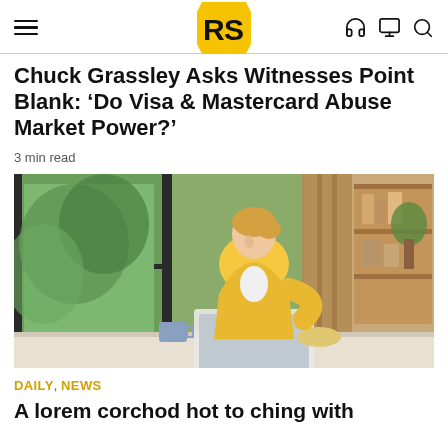RS (logo) with hamburger menu and icons
Chuck Grassley Asks Witnesses Point Blank: ‘Do Visa & Mastercard Abuse Market Power?’
3 min read
[Figure (photo): Woman in yellow blazer smiling while using laptop at a home office desk, with large windows showing greenery in background and shelving unit on right side]
DAILY, NEWS
A lorem corchod hot to ching with